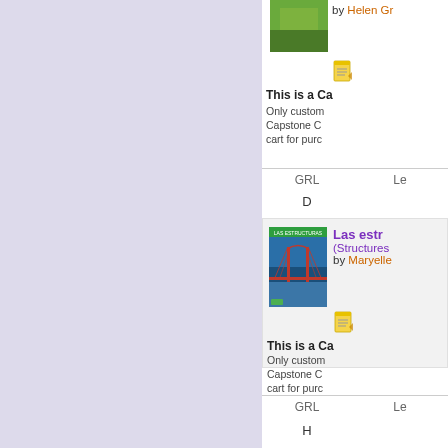[Figure (illustration): Left navigation/sidebar panel with lavender/light purple background]
[Figure (photo): Book cover with animal/nature theme (partially visible at top)]
by Helen Gr
This is a Ca
Only custom Capstone C cart for purc
| GRL | Le |
| --- | --- |
| D |  |
[Figure (photo): Book cover showing Golden Gate Bridge - Las estructuras (Structures)]
Las estr
(Structures
by Maryelle
This is a Ca
Only custom Capstone C cart for purc
| GRL | Le |
| --- | --- |
| H |  |
H